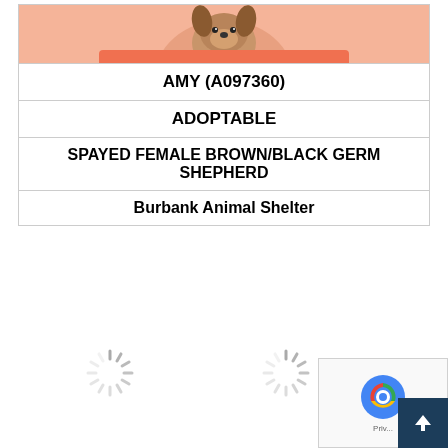[Figure (photo): Photo of a dog (German Shepherd, brown/black) held by a person wearing a coral/salmon colored shirt, shown from the chest area up. Only the bottom portion of the photo is visible.]
AMY (A097360)
ADOPTABLE
SPAYED FEMALE BROWN/BLACK GERM SHEPHERD
Burbank Animal Shelter
[Figure (other): Loading spinner icon (grey radial lines forming a circular loading animation)]
[Figure (other): Loading spinner icon (grey radial lines forming a circular loading animation)]
[Figure (other): reCAPTCHA widget with Google reCAPTCHA logo and 'Priv...' text visible, overlaid with a dark blue scroll-to-top arrow button]